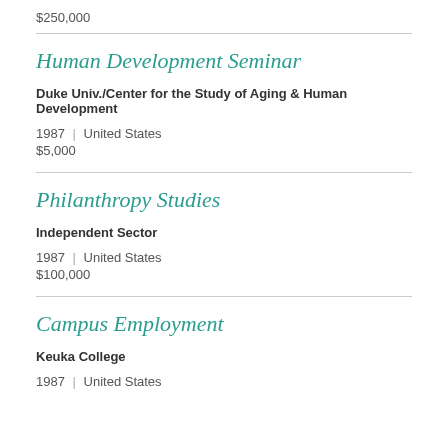$250,000
Human Development Seminar
Duke Univ./Center for the Study of Aging & Human Development
1987 | United States
$5,000
Philanthropy Studies
Independent Sector
1987 | United States
$100,000
Campus Employment
Keuka College
1987 | United States